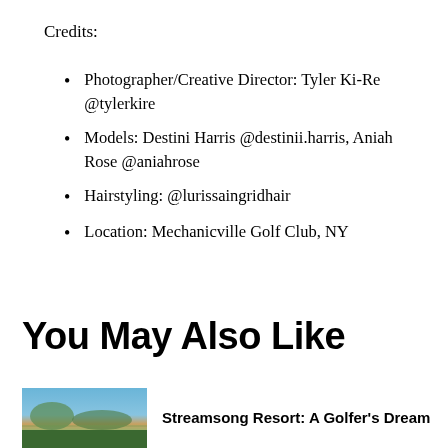Credits:
Photographer/Creative Director: Tyler Ki-Re @tylerkire
Models: Destini Harris @destinii.harris, Aniah Rose @aniahrose
Hairstyling: @lurissaingridhair
Location: Mechanicville Golf Club, NY
You May Also Like
[Figure (photo): Landscape photo showing a golf resort or scenic outdoor location with hills and sky]
Streamsong Resort: A Golfer's Dream